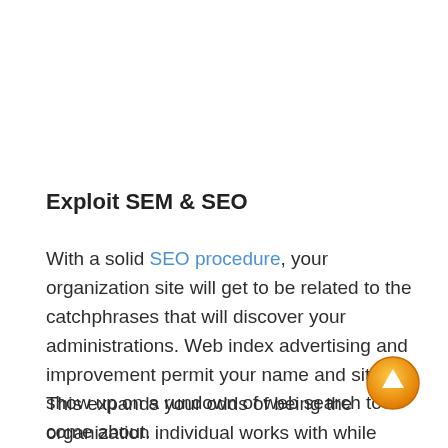Exploit SEM & SEO
With a solid SEO procedure, your organization site will get to be related to the catchphrases that will discover your administrations. Web index advertising and improvement permit your name and site to show up on a rundown of web search tool come about.
This expands your odds of being the organization individual works with while choosing an
[Figure (other): Orange circular scroll-to-top button with white upward arrow]